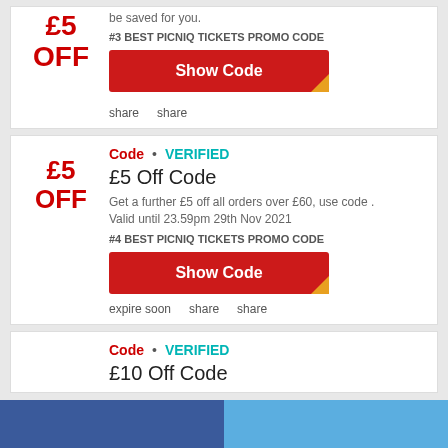£5 OFF - be saved for you.
#3 BEST PICNIQ TICKETS PROMO CODE
Show Code
share   share
Code • VERIFIED
£5 Off Code
Get a further £5 off all orders over £60, use code . Valid until 23.59pm 29th Nov 2021
#4 BEST PICNIQ TICKETS PROMO CODE
Show Code
expire soon   share   share
Code • VERIFIED
£10 Off Code